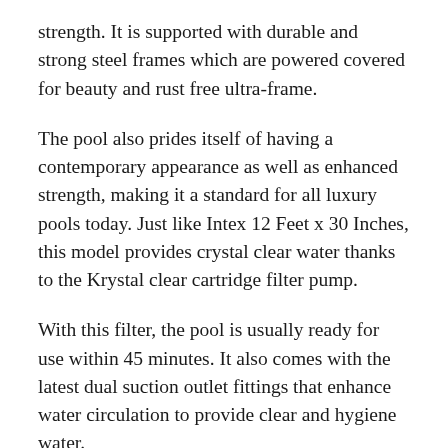strength. It is supported with durable and strong steel frames which are powered covered for beauty and rust free ultra-frame.
The pool also prides itself of having a contemporary appearance as well as enhanced strength, making it a standard for all luxury pools today. Just like Intex 12 Feet x 30 Inches, this model provides crystal clear water thanks to the Krystal clear cartridge filter pump.
With this filter, the pool is usually ready for use within 45 minutes. It also comes with the latest dual suction outlet fittings that enhance water circulation to provide clear and hygiene water.